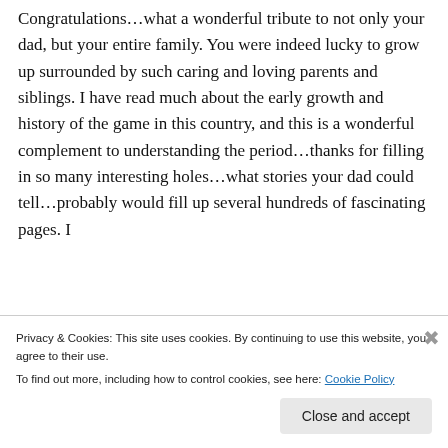Congratulations…what a wonderful tribute to not only your dad, but your entire family. You were indeed lucky to grow up surrounded by such caring and loving parents and siblings. I have read much about the early growth and history of the game in this country, and this is a wonderful complement to understanding the period…thanks for filling in so many interesting holes…what stories your dad could tell…probably would fill up several hundreds of fascinating pages. I
Privacy & Cookies: This site uses cookies. By continuing to use this website, you agree to their use. To find out more, including how to control cookies, see here: Cookie Policy
Close and accept